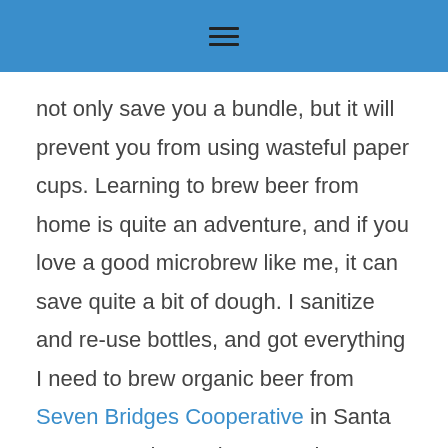☰
not only save you a bundle, but it will prevent you from using wasteful paper cups. Learning to brew beer from home is quite an adventure, and if you love a good microbrew like me, it can save quite a bit of dough. I sanitize and re-use bottles, and got everything I need to brew organic beer from Seven Bridges Cooperative in Santa Cruz, CA. The equipment to brew costs a bit up front, but will easily pay for itself with use.